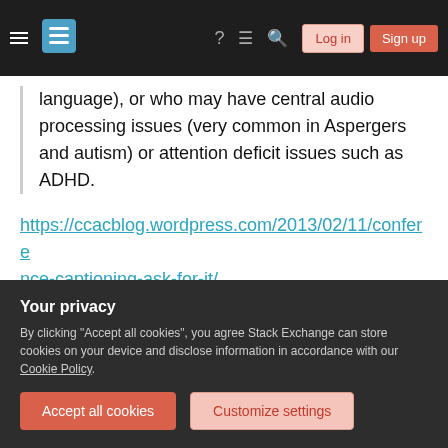Stack Exchange navigation bar with hamburger menu, logo, help, chat, search icons, Log in and Sign up buttons
language), or who may have central audio processing issues (very common in Aspergers and autism) or attention deficit issues such as ADHD.
https://ccacblog.wordpress.com/2013/02/11/conference-captioning-ask-for-it/
And the transcript forms a useful record of the conference, and can be used by people who couldn't attend the conference because of cost or
Your privacy
By clicking "Accept all cookies", you agree Stack Exchange can store cookies on your device and disclose information in accordance with our Cookie Policy.
Accept all cookies
Customize settings